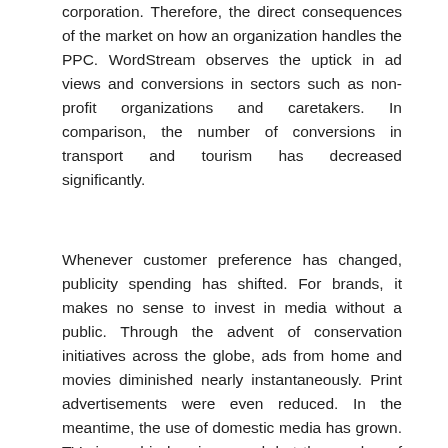corporation. Therefore, the direct consequences of the market on how an organization handles the PPC. WordStream observes the uptick in ad views and conversions in sectors such as non-profit organizations and caretakers. In comparison, the number of conversions in transport and tourism has decreased significantly.
Whenever customer preference has changed, publicity spending has shifted. For brands, it makes no sense to invest in media without a public. Through the advent of conservation initiatives across the globe, ads from home and movies diminished nearly instantaneously. Print advertisements were even reduced. In the meantime, the use of domestic media has grown. TV viewership has increased, but the number of digital users has increased even